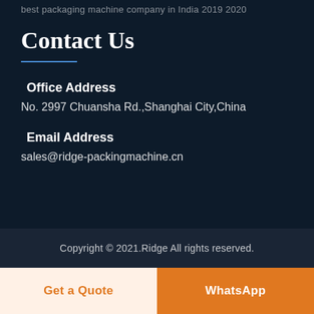best packaging machine company in India 2019 2020
Contact Us
Office Address
No. 2997 Chuansha Rd.,Shanghai City,China
Email Address
sales@ridge-packingmachine.cn
Copyright © 2021.Ridge All rights reserved.
Get a Quote
WhatsApp